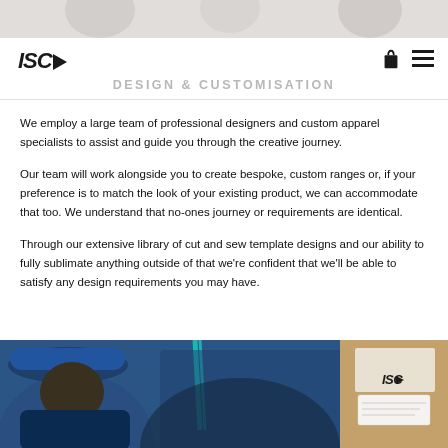[Figure (photo): Top strip showing partial product/apparel images in grayscale]
ISC▶  DESIGN & CUSTOMISATION
We employ a large team of professional designers and custom apparel specialists to assist and guide you through the creative journey.
Our team will work alongside you to create bespoke, custom ranges or, if your preference is to match the look of your existing product, we can accommodate that too. We understand that no-ones journey or requirements are identical.
Through our extensive library of cut and sew template designs and our ability to fully sublimate anything outside of that we're confident that we'll be able to satisfy any design requirements you may have.
[Figure (photo): Photo of person wearing a blue cap and dark top with an ISC branded box and teal lanyard visible]